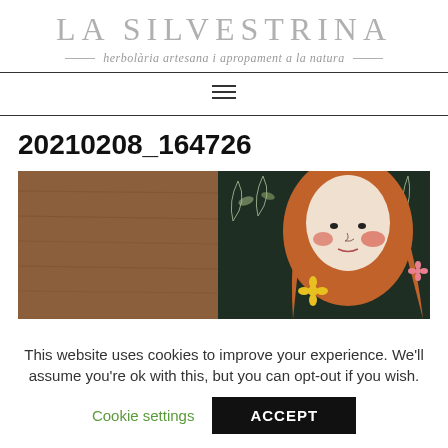LA SILVESTRINA
herbolària artesana i apropament a la natura
[Figure (other): Hamburger navigation menu icon (three horizontal lines)]
20210208_164726
[Figure (photo): Photo showing a wooden table surface on the left and an illustrated mural on the right depicting a stylized woman with red/orange hair, rosy cheeks, and botanical elements on a dark background.]
This website uses cookies to improve your experience. We'll assume you're ok with this, but you can opt-out if you wish.
Cookie settings   ACCEPT